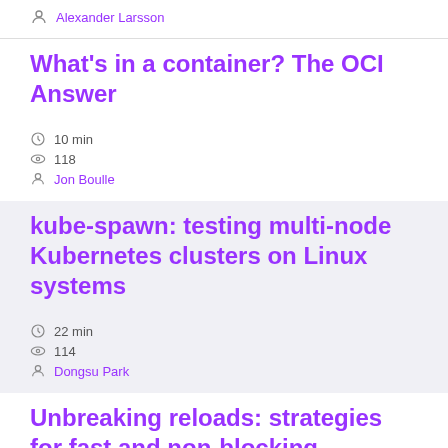Alexander Larsson
What's in a container? The OCI Answer
10 min
118
Jon Boulle
kube-spawn: testing multi-node Kubernetes clusters on Linux systems
22 min
114
Dongsu Park
Unbreaking reloads: strategies for fast and non-blocking reconfiguration